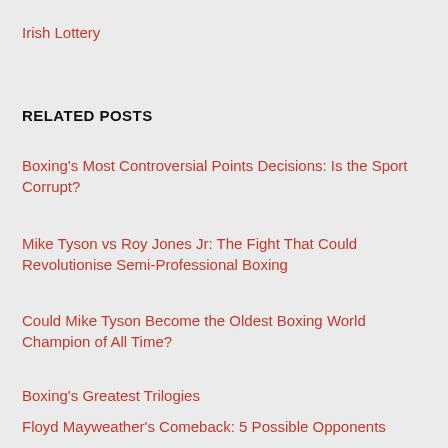Irish Lottery
RELATED POSTS
Boxing's Most Controversial Points Decisions: Is the Sport Corrupt?
Mike Tyson vs Roy Jones Jr: The Fight That Could Revolutionise Semi-Professional Boxing
Could Mike Tyson Become the Oldest Boxing World Champion of All Time?
Boxing's Greatest Trilogies
Floyd Mayweather's Comeback: 5 Possible Opponents
Can Nigel Benn Become the Oldest Boxing World...